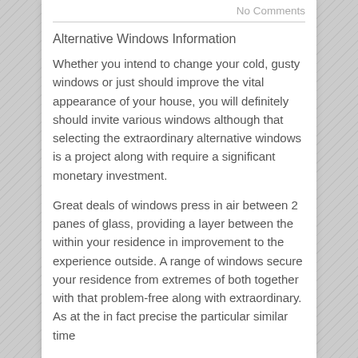No Comments
Alternative Windows Information
Whether you intend to change your cold, gusty windows or just should improve the vital appearance of your house, you will definitely should invite various windows although that selecting the extraordinary alternative windows is a project along with require a significant monetary investment.
Great deals of windows press in air between 2 panes of glass, providing a layer between the within your residence in improvement to the experience outside. A range of windows secure your residence from extremes of both together with that problem-free along with extraordinary. As at the in fact precise the particular similar time